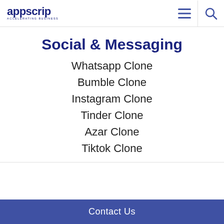appscrip ACCELERATING BUSINESS
Social & Messaging
Whatsapp Clone
Bumble Clone
Instagram Clone
Tinder Clone
Azar Clone
Tiktok Clone
Contact Us